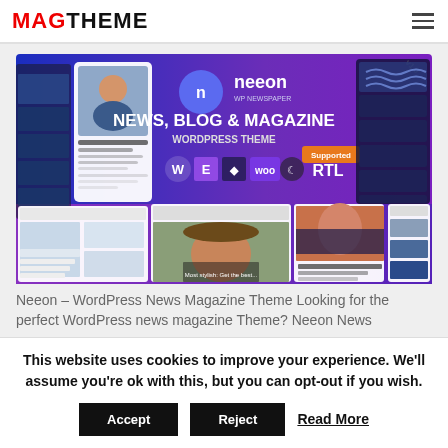MAGTHEME
[Figure (screenshot): Neeon WP Newspaper WordPress theme promotional banner showing News, Blog & Magazine WordPress Theme with plugin support icons (WP, Elementor, WooCommerce, RTL, dark mode), and demo screenshots of magazine-style layouts with photos of people and news articles.]
Neeon – WordPress News Magazine Theme Looking for the perfect WordPress news magazine Theme? Neeon News
This website uses cookies to improve your experience. We'll assume you're ok with this, but you can opt-out if you wish.
Accept  Reject  Read More